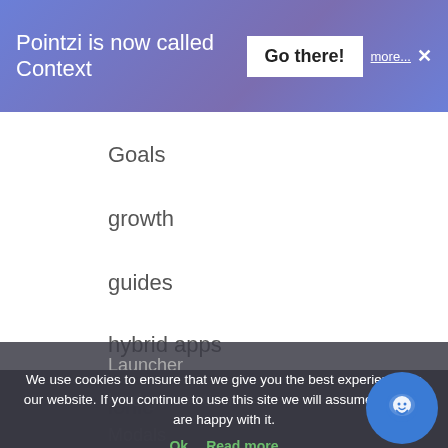Pointzi is now called Context. Go there! more... ×
Goals
growth
guides
hybrid apps
ionic
iPad
Jobs to be done
JTBD
Launcher
lead generation
Modals
multichannel
We use cookies to ensure that we give you the best experience on our website. If you continue to use this site we will assume that you are happy with it.
Ok   Read more